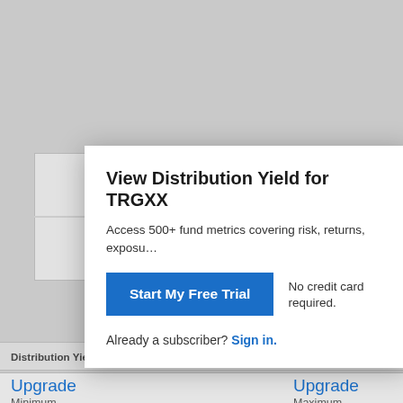View Distribution Yield for TRGXX
Access 500+ fund metrics covering risk, returns, exposu…
Start My Free Trial
No credit card required.
Already a subscriber? Sign in.
Distribution Yield Range, Past 5 Years
Upgrade
Minimum
MAY 28 2021
Upgrade
Maximum
SEP 30 2019